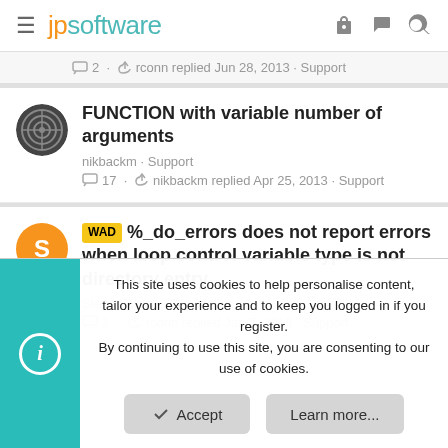jpsoftware
2 · rconn replied Jun 28, 2013 · Support
FUNCTION with variable number of arguments
nikbackm · Support
17 · nikbackm replied Apr 25, 2013 · Support
WAD %_do_errors does not report errors when loop control variable type is not directory entry
Steve Fabian · Support
This site uses cookies to help personalise content, tailor your experience and to keep you logged in if you register. By continuing to use this site, you are consenting to our use of cookies.